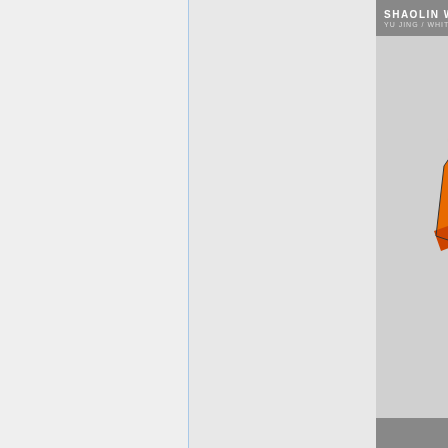[Figure (illustration): Left panel: light gray background with a thin blue vertical line on the right edge.]
SHAOLIN WARRIOR MO
YU JING / WHITE BANNER ARMY
[Figure (illustration): Full-body concept art illustration of a Shaolin Warrior Monk in orange robes with green sash and dark armor accessories, wearing black sandals, with a bald head. A red circular emblem with Chinese-style dragon/symbol is in the upper right. Background is light gray.]
N4